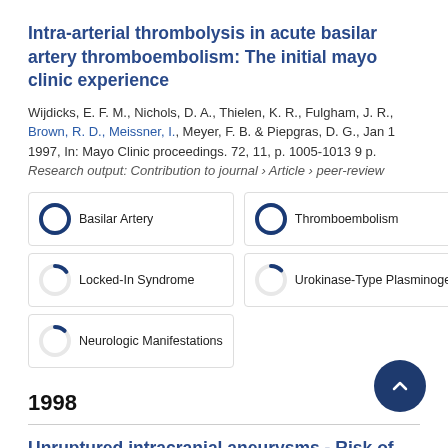Intra-arterial thrombolysis in acute basilar artery thromboembolism: The initial mayo clinic experience
Wijdicks, E. F. M., Nichols, D. A., Thielen, K. R., Fulgham, J. R., Brown, R. D., Meissner, I., Meyer, F. B. & Piepgras, D. G., Jan 1 1997, In: Mayo Clinic proceedings. 72, 11, p. 1005-1013 9 p.
Research output: Contribution to journal › Article › peer-review
[Figure (infographic): Four badge-style keyword indicators: Basilar Artery (100%), Thromboembolism (100%), Locked-In Syndrome (~15%), Urokinase-Type Plasminogen Activator (~13%), Neurologic Manifestations (~12%)]
1998
Unruptured intracranial aneurysms - Risk of rupture and risks of surgical intervention
THE INTERNATIONAL STUDY OF UNRUPTURED